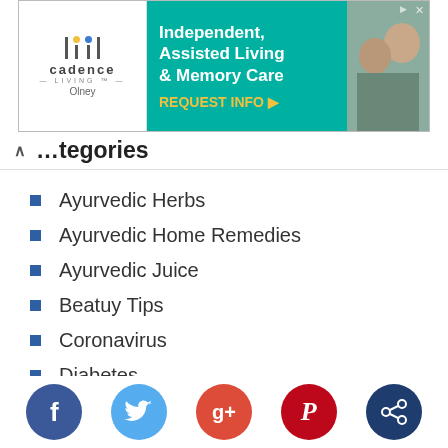[Figure (other): Advertisement banner for Cadence Living Olney — Independent, Assisted Living & Memory Care with REQUEST INFO CTA, teal background, logo on left, photo of elderly couple on right]
...tegories
Ayurvedic Herbs
Ayurvedic Home Remedies
Ayurvedic Juice
Beatuy Tips
Coronavirus
Diabetes
Disease Info
Hair Care
Health and Wellness
Home Remedies
[Figure (other): Social media share buttons row: Facebook (dark blue), Twitter (light blue), Google+ (red), Pinterest (dark red), Share (dark navy)]